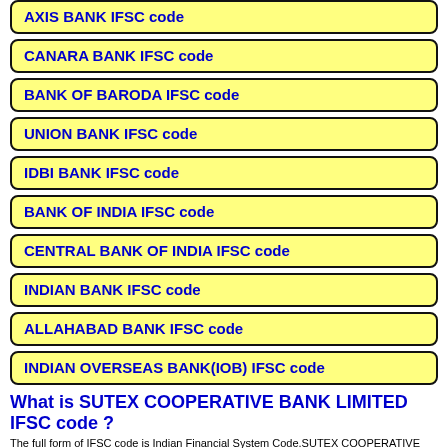AXIS BANK IFSC code
CANARA BANK IFSC code
BANK OF BARODA IFSC code
UNION BANK IFSC code
IDBI BANK IFSC code
BANK OF INDIA IFSC code
CENTRAL BANK OF INDIA IFSC code
INDIAN BANK IFSC code
ALLAHABAD BANK IFSC code
INDIAN OVERSEAS BANK(IOB) IFSC code
What is SUTEX COOPERATIVE BANK LIMITED IFSC code ?
The full form of IFSC code is Indian Financial System Code.SUTEX COOPERATIVE BANK LIMITED IFSC code has 11 digits and it is a collection of number and letters Ordinarily. The